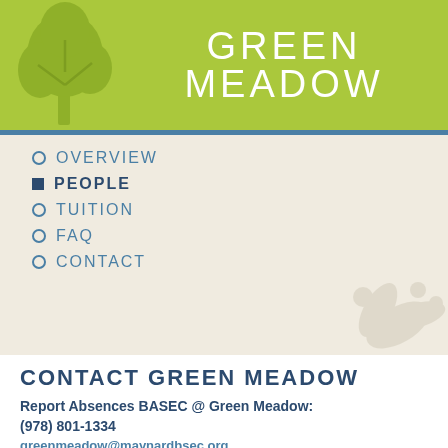GREEN MEADOW
OVERVIEW
PEOPLE
TUITION
FAQ
CONTACT
CONTACT GREEN MEADOW
Report Absences BASEC @ Green Meadow: (978) 801-1334
greenmeadow@maynardbsec.org